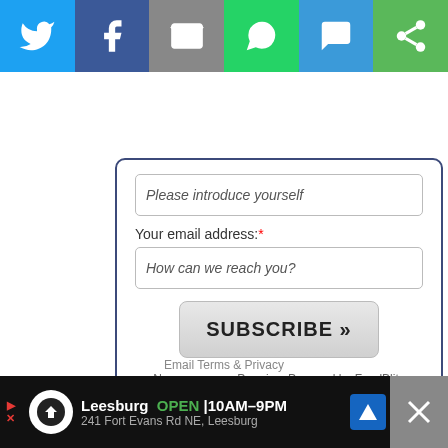[Figure (screenshot): Social sharing toolbar with Twitter, Facebook, Email, WhatsApp, SMS, and another share button icons on colored backgrounds]
Please introduce yourself
Your email address:*
How can we reach you?
SUBSCRIBE »
No spam, ever. Promise. Powered by FeedBlitz
Email Terms & Privacy
TRACKBACKS
[Figure (screenshot): Ad banner for a store in Leesburg, open 10AM-9PM, 241 Fort Evans Rd NE, Leesburg with navigation icon]